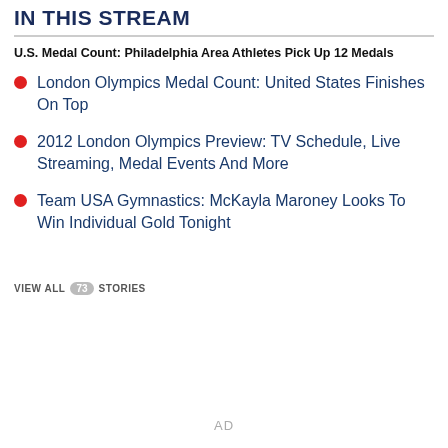IN THIS STREAM
U.S. Medal Count: Philadelphia Area Athletes Pick Up 12 Medals
London Olympics Medal Count: United States Finishes On Top
2012 London Olympics Preview: TV Schedule, Live Streaming, Medal Events And More
Team USA Gymnastics: McKayla Maroney Looks To Win Individual Gold Tonight
VIEW ALL 73 STORIES
AD